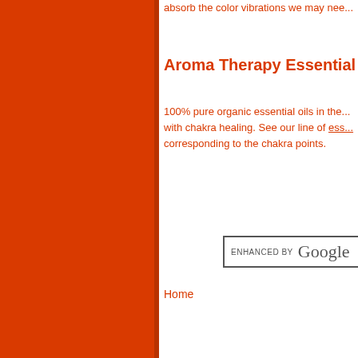absorb the color vibrations we may nee...
Aroma Therapy Essential Oils
100% pure organic essential oils in the... with chakra healing. See our line of ess... corresponding to the chakra points.
[Figure (other): ENHANCED BY Google search box]
Home